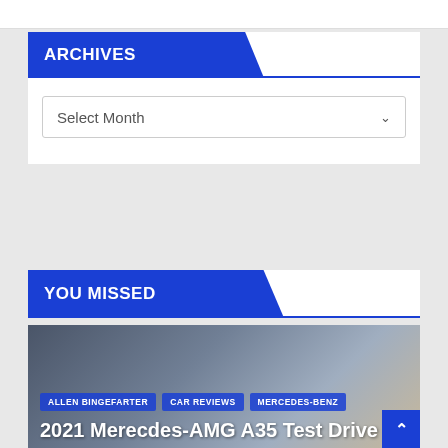ARCHIVES
Select Month
YOU MISSED
[Figure (photo): Dark toned photo of a car (Mercedes-AMG A35) with article overlay tags and title text]
ALLEN BINGEFARTER
CAR REVIEWS
MERCEDES-BENZ
2021 Merecdes-AMG A35 Test Drive